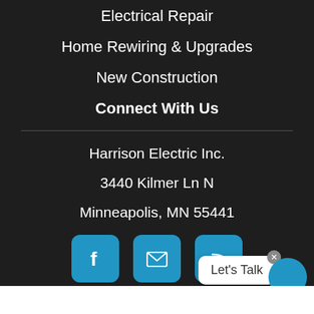Electrical Repair
Home Rewiring & Upgrades
New Construction
Connect With Us
Harrison Electric Inc.
3440 Kilmer Ln N
Minneapolis, MN 55441
[Figure (infographic): Three social media icon buttons: Facebook (f), Email (envelope), and RSS feed icons, rendered as blue rounded square buttons]
Let's Talk